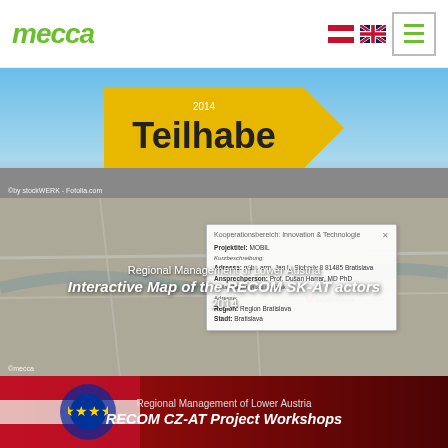mecca
[Figure (photo): Yellow directional road sign reading 'Teilhabe' with year 2014, set against blue sky background]
[Figure (map): Interactive map of the RECOM SK-AT actors showing Bratislava region with info popup overlay, 2014]
Regional Management of Lower Austria
Interactive Map of the RECOM SK-AT actors
2014
[Figure (photo): Photo of flags (Austrian, EU, Czech) and papers on table — RECOM CZ-AT Project Workshops]
Regional Management of Lower Austria
RECOM CZ-AT Project Workshops